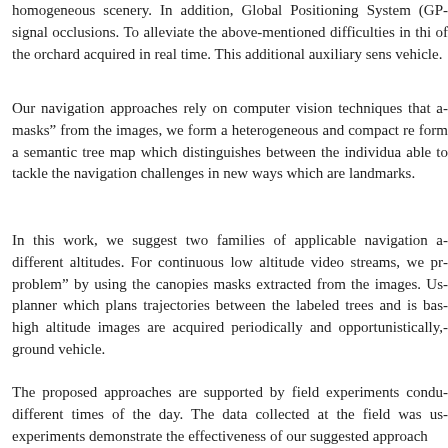homogeneous scenery. In addition, Global Positioning System (GP... signal occlusions. To alleviate the above-mentioned difficulties in thi... of the orchard acquired in real time. This additional auxiliary sens... vehicle.
Our navigation approaches rely on computer vision techniques that a... masks" from the images, we form a heterogeneous and compact re... form a semantic tree map which distinguishes between the individua... able to tackle the navigation challenges in new ways which are... landmarks.
In this work, we suggest two families of applicable navigation a... different altitudes. For continuous low altitude video streams, we pr... problem" by using the canopies masks extracted from the images. Us... planner which plans trajectories between the labeled trees and is bas... high altitude images are acquired periodically and opportunistically,... ground vehicle.
The proposed approaches are supported by field experiments condu... different times of the day. The data collected at the field was us... experiments demonstrate the effectiveness of our suggested approach...